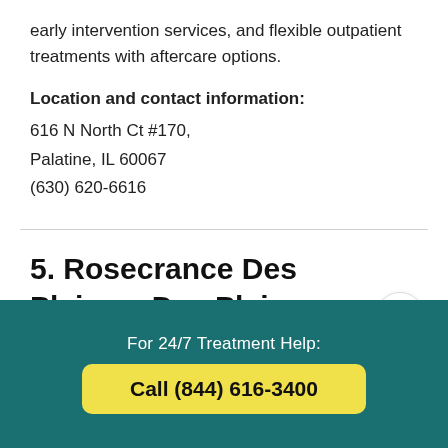early intervention services, and flexible outpatient treatments with aftercare options.
Location and contact information:
616 N North Ct #170,
Palatine, IL 60067
(630) 620-6616
5. Rosecrance Des Plaines, Des Plaines, Illinois
For 24/7 Treatment Help:
Call (844) 616-3400